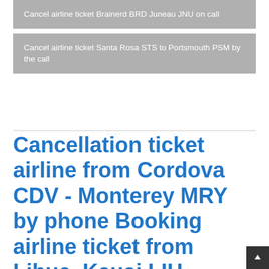Cancel airline ticket Brainerd BRD Juneau JNU on call
Cancel airline ticket Santa Rosa STS to Portsmouth PSM by the call
Cancellation ticket airline from Cordova CDV - Monterey MRY by phone Booking airline ticket from Lihue, Kauai LIH - Midland MAF over the phone Change flight Hilo, Hawaii ITO - Springfield SPI over the phone